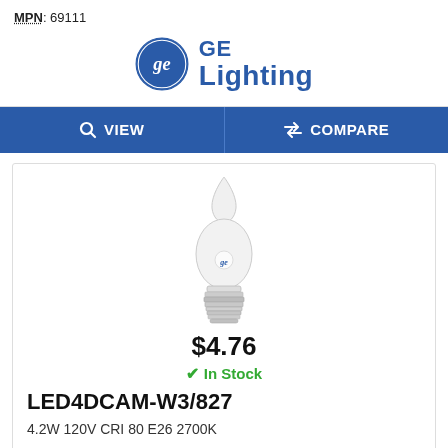MPN: 69111
[Figure (logo): GE Lighting logo with circular GE emblem and blue text reading GE Lighting]
VIEW
COMPARE
[Figure (photo): LED candelabra flame-tip light bulb with E26 medium base, white frosted glass, GE branded]
$4.76
✓ In Stock
LED4DCAM-W3/827
4.2W 120V CRI 80 E26 2700K